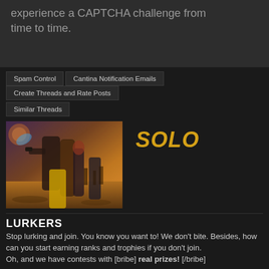experience a CAPTCHA challenge from time to time.
Spam Control | Cantina Notification Emails | Create Threads and Rate Posts | Similar Threads
[Figure (photo): Movie poster for SOLO Star Wars film showing a man holding a gun with multiple characters in the background against a desert landscape with dramatic lighting]
SOLO
LURKERS
Stop lurking and join. You know you want to! We don't bite. Besides, how can you start earning ranks and trophies if you don't join.
Oh, and we have contests with [bribe] real prizes! [/bribe]
Featured Thread   Echo-07   Sep 12, 2014   Read More   Replies: 197
Tweet